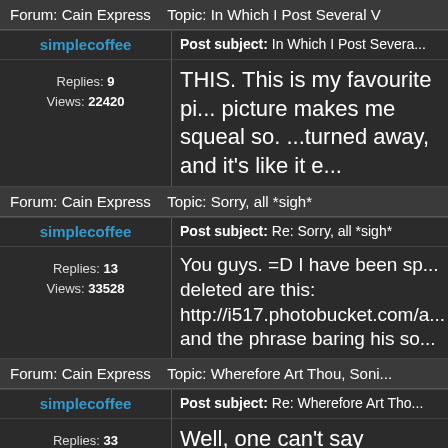Forum: Cain Express   Topic: In Which I Post Several V
simplecoffee
Post subject: In Which I Post Severa...
Replies: 9
Views: 22420
THIS. This is my favourite pi... picture makes me squeal so. ...turned away, and it's like it e...
Forum: Cain Express   Topic: Sorry, all *sigh*
simplecoffee
Post subject: Re: Sorry, all *sigh*
Replies: 13
Views: 33528
You guys. =D I have been sp... deleted are this:
http://i517.photobucket.com/a...
and the phrase baring his so...
Forum: Cain Express   Topic: Wherefore Art Thou, Soni...
simplecoffee
Post subject: Re: Wherefore Art Tho...
Replies: 33
Well, one can't say 'gentlema...